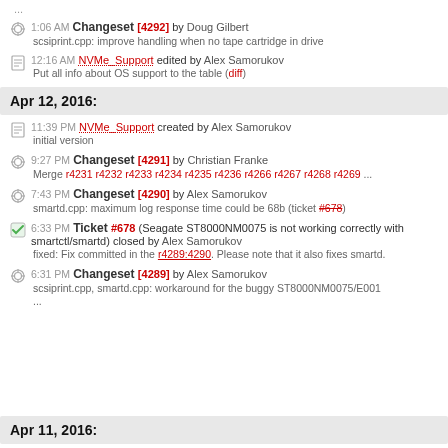...
1:06 AM Changeset [4292] by Doug Gilbert
scsiprint.cpp: improve handling when no tape cartridge in drive
12:16 AM NVMe_Support edited by Alex Samorukov
Put all info about OS support to the table (diff)
Apr 12, 2016:
11:39 PM NVMe_Support created by Alex Samorukov
initial version
9:27 PM Changeset [4291] by Christian Franke
Merge r4231 r4232 r4233 r4234 r4235 r4236 r4266 r4267 r4268 r4269 ...
7:43 PM Changeset [4290] by Alex Samorukov
smartd.cpp: maximum log response time could be 68b (ticket #678)
6:33 PM Ticket #678 (Seagate ST8000NM0075 is not working correctly with smartctl/smartd) closed by Alex Samorukov
fixed: Fix committed in the r4289:4290. Please note that it also fixes smartd.
6:31 PM Changeset [4289] by Alex Samorukov
scsiprint.cpp, smartd.cpp: workaround for the buggy ST8000NM0075/E001
...
Apr 11, 2016: